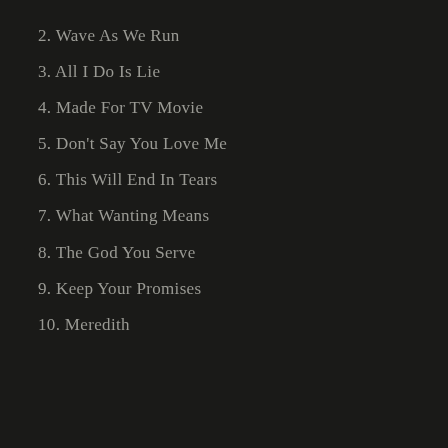2. Wave As We Run
3. All I Do Is Lie
4. Made For TV Movie
5. Don't Say You Love Me
6. This Will End In Tears
7. What Wanting Means
8. The God You Serve
9. Keep Your Promises
10. Meredith